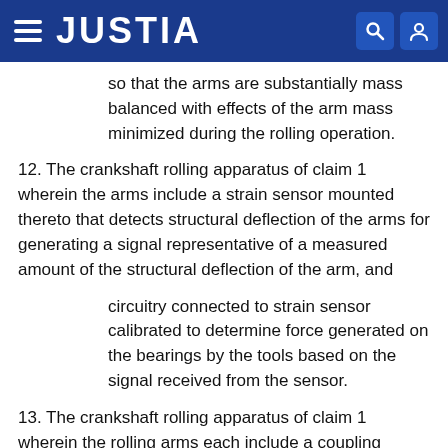JUSTIA
so that the arms are substantially mass balanced with effects of the arm mass minimized during the rolling operation.
12. The crankshaft rolling apparatus of claim 1 wherein the arms include a strain sensor mounted thereto that detects structural deflection of the arms for generating a signal representative of a measured amount of the structural deflection of the arm, and
circuitry connected to strain sensor calibrated to determine force generated on the bearings by the tools based on the signal received from the sensor.
13. The crankshaft rolling apparatus of claim 1 wherein the rolling arms each include a coupling portion, and
an arm positioner having carriage assemblies